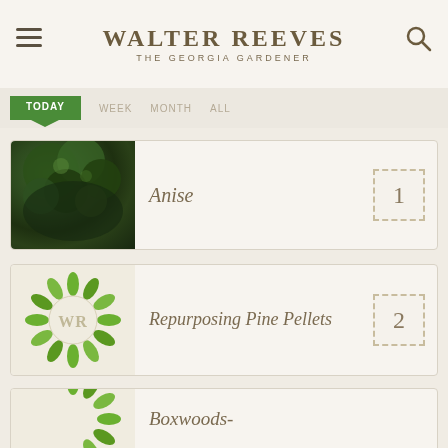Walter Reeves — The Georgia Gardener
TODAY | WEEK | MONTH | ALL
Anise — 1
Repurposing Pine Pellets — 2
Boxwoods- (partial)